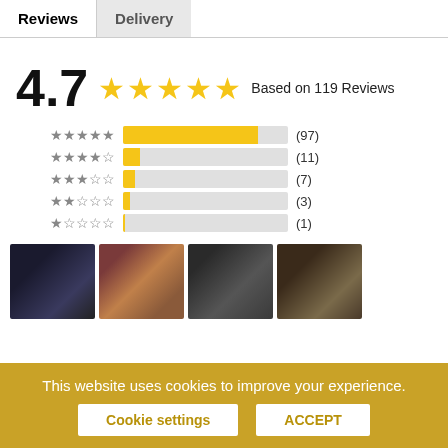Reviews | Delivery
4.7  ★★★★★  Based on 119 Reviews
[Figure (bar-chart): Rating distribution]
[Figure (photo): Four thumbnail photos of product/user submitted images]
This website uses cookies to improve your experience.
Cookie settings   ACCEPT